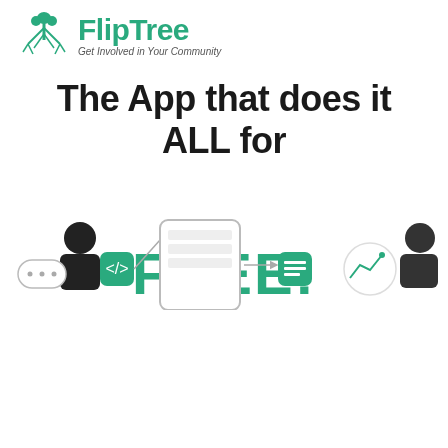[Figure (logo): FlipTree logo — upside-down tree icon in teal/green with text 'FlipTree' and tagline 'Get Involved in Your Community']
The App that does it ALL for FREE!
[Figure (illustration): App Store and Google Play download buttons, a 'New' badge, and a bottom illustration showing a person with mobile/app workflow icons]
Download on the App Store | GET IT ON Google Play